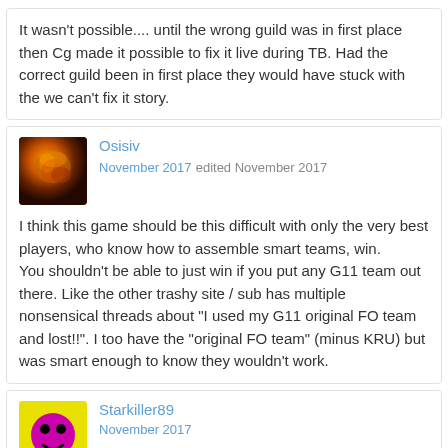It wasn't possible.... until the wrong guild was in first place then Cg made it possible to fix it live during TB. Had the correct guild been in first place they would have stuck with the we can't fix it story.
Osisiv
November 2017 edited November 2017
I think this game should be this difficult with only the very best players, who know how to assemble smart teams, win.

You shouldn't be able to just win if you put any G11 team out there. Like the other trashy site / sub has multiple nonsensical threads about "I used my G11 original FO team and lost!!". I too have the "original FO team" (minus KRU) but was smart enough to know they wouldn't work.
Starkiller89
November 2017